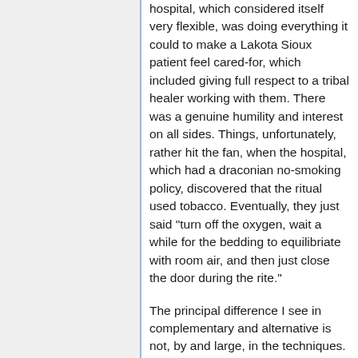hospital, which considered itself very flexible, was doing everything it could to make a Lakota Sioux patient feel cared-for, which included giving full respect to a tribal healer working with them. There was a genuine humility and interest on all sides. Things, unfortunately, rather hit the fan, when the hospital, which had a draconian no-smoking policy, discovered that the ritual used tobacco. Eventually, they just said "turn off the oxygen, wait a while for the bedding to equilibriate with room air, and then just close the door during the rite."
The principal difference I see in complementary and alternative is not, by and large, in the techniques. It is a willingness to work with other disciplines. For example, a spiritual healer that is willing to be involved if and only if prayer